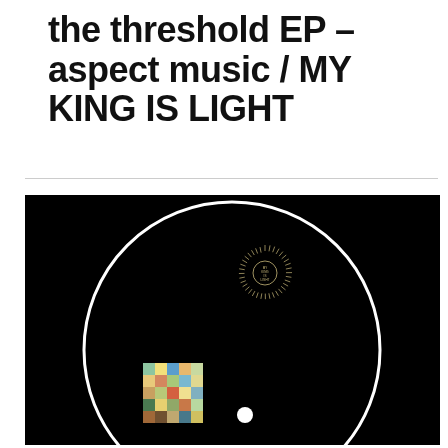the threshold EP – aspect music / MY KING IS LIGHT
[Figure (photo): A vinyl record on a black background. The record is black with a white circular groove outline. Near the upper center of the record is a small circular label with radiating lines resembling a sun/burst design with text 'MY KING IS LIGHT'. In the lower left area is a small colorful mosaic/patchwork square image. Near the center bottom is a small white circle (the record's center hole area).]